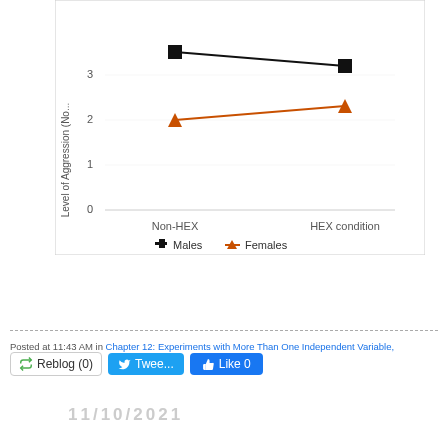[Figure (line-chart): ]
Posted at 11:43 AM in Chapter 12: Experiments with More Than One Independent Variable, Questions and...